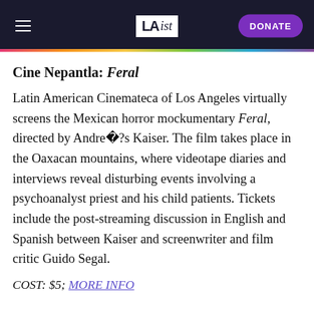LA ist | DONATE
Cine Nepantla: Feral
Latin American Cinemateca of Los Angeles virtually screens the Mexican horror mockumentary Feral, directed by André?s Kaiser. The film takes place in the Oaxacan mountains, where videotape diaries and interviews reveal disturbing events involving a psychoanalyst priest and his child patients. Tickets include the post-streaming discussion in English and Spanish between Kaiser and screenwriter and film critic Guido Segal.
COST: $5; MORE INFO